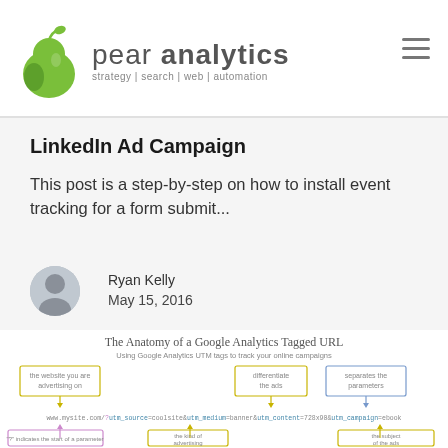[Figure (logo): Pear Analytics logo with pear icon and text 'pear analytics, strategy | search | web | automation']
LinkedIn Ad Campaign
This post is a step-by-step on how to install event tracking for a form submit...
Ryan Kelly
May 15, 2016
[Figure (infographic): The Anatomy of a Google Analytics Tagged URL - Using Google Analytics UTM tags to track your online campaigns. Flowchart showing URL parameters: utm_source=coolsite, utm_medium=banner, utm_content=728x90, utm_campaign=ebook with annotated boxes explaining each parameter.]